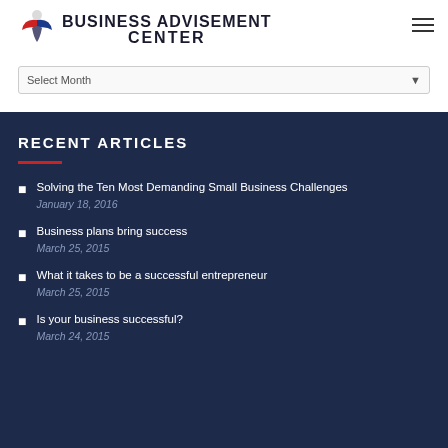BUSINESS ADVISEMENT CENTER
RECENT ARTICLES
Solving the Ten Most Demanding Small Business Challenges — January 18, 2016
Business plans bring success — March 25, 2015
What it takes to be a successful entrepreneur — March 25, 2015
Is your business successful? — March 24, 2015